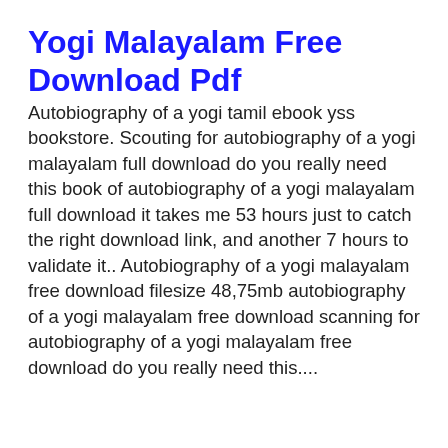Yogi Malayalam Free Download Pdf
Autobiography of a yogi tamil ebook yss bookstore. Scouting for autobiography of a yogi malayalam full download do you really need this book of autobiography of a yogi malayalam full download it takes me 53 hours just to catch the right download link, and another 7 hours to validate it.. Autobiography of a yogi malayalam free download filesize 48,75mb autobiography of a yogi malayalam free download scanning for autobiography of a yogi malayalam free download do you really need this....